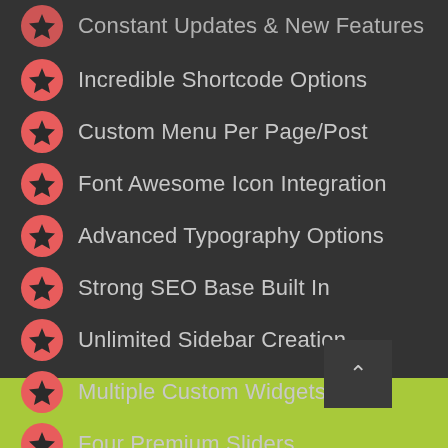Constant Updates & New Features
Incredible Shortcode Options
Custom Menu Per Page/Post
Font Awesome Icon Integration
Advanced Typography Options
Strong SEO Base Built In
Unlimited Sidebar Creation
Multiple Custom Widgets
Four Premium Sliders
Fully Optimized For Speed